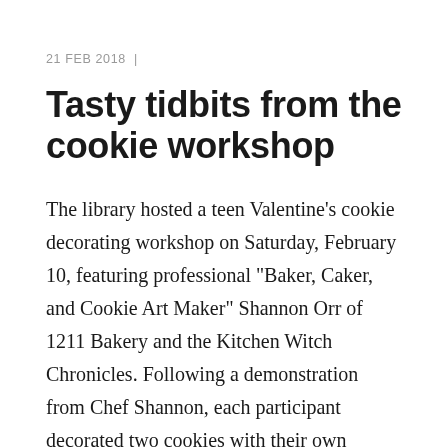21 FEB 2018  |
Tasty tidbits from the cookie workshop
The library hosted a teen Valentine's cookie decorating workshop on Saturday, February 10, featuring professional "Baker, Caker, and Cookie Art Maker" Shannon Orr of 1211 Bakery and the Kitchen Witch Chronicles. Following a demonstration from Chef Shannon, each participant decorated two cookies with their own fabulous designs. It